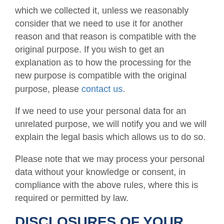which we collected it, unless we reasonably consider that we need to use it for another reason and that reason is compatible with the original purpose. If you wish to get an explanation as to how the processing for the new purpose is compatible with the original purpose, please contact us.
If we need to use your personal data for an unrelated purpose, we will notify you and we will explain the legal basis which allows us to do so.
Please note that we may process your personal data without your knowledge or consent, in compliance with the above rules, where this is required or permitted by law.
DISCLOSURES OF YOUR